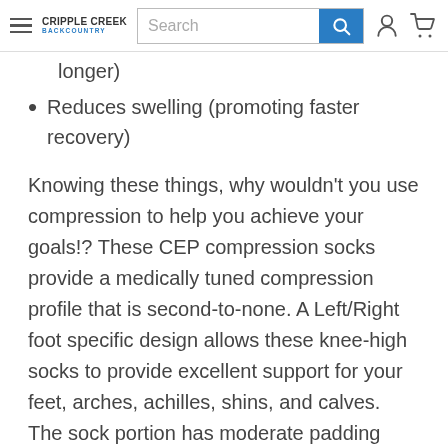Cripple Creek Backcountry — Search bar — Account icon — Cart icon
longer)
Reduces swelling (promoting faster recovery)
Knowing these things, why wouldn't you use compression to help you achieve your goals!? These CEP compression socks provide a medically tuned compression profile that is second-to-none.  A Left/Right foot specific design allows these knee-high socks to provide excellent support for your feet, arches, achilles, shins, and calves.  The sock portion has moderate padding under the foot and